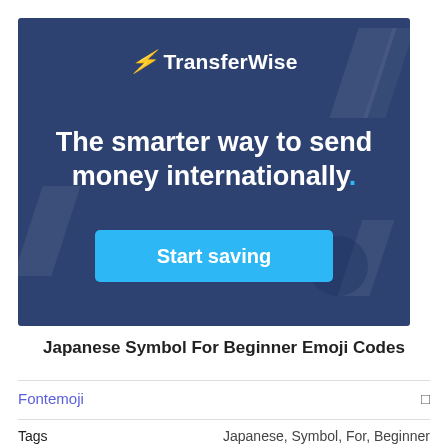[Figure (infographic): TransferWise advertisement banner with dark blue background, company logo, tagline 'The smarter way to send money internationally.' and a cyan 'Start saving' call-to-action button. Decorative slash shapes and a circle in the background.]
Japanese Symbol For Beginner Emoji Codes
Fontemoji
Tags  Japanese, Symbol, For, Beginner